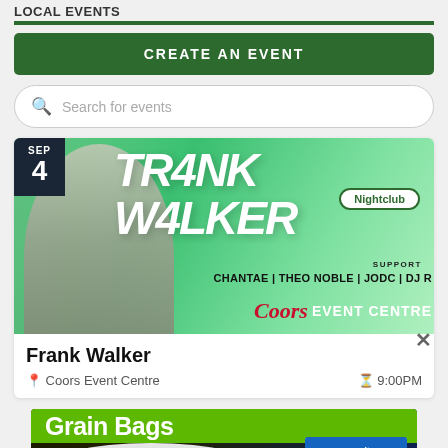LOCAL EVENTS
CREATE AN EVENT
Search for events
[Figure (photo): Event listing card for Frank Walker at Coors Event Centre on September 4. Green themed nightclub promotional banner with performer photo, 'FRANK WALKER' text overlay, Nightclub badge, support acts CHANTAE | THEO NOBLE | JODC | DJ R, and Coors Event Centre branding.]
Frank Walker
Coors Event Centre  9:00PM
[Figure (photo): Advertisement banner for Grain Bags by Nooraita showing white grain storage bags and product boxes with blue and white packaging.]